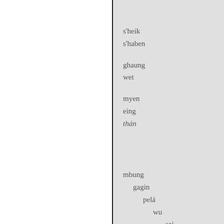s'heik
s'haben
ghaung
wet
myen
eing
thán
mbung
gagin
pelá
wu
sai
li
nráng
ngá